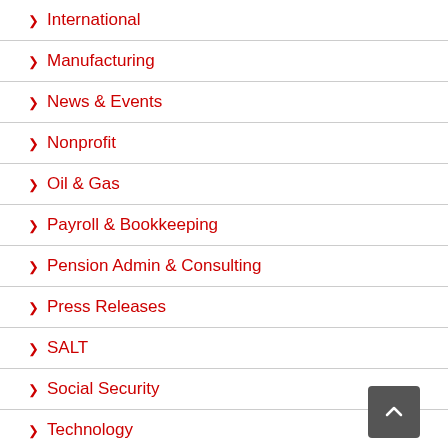International
Manufacturing
News & Events
Nonprofit
Oil & Gas
Payroll & Bookkeeping
Pension Admin & Consulting
Press Releases
SALT
Social Security
Technology